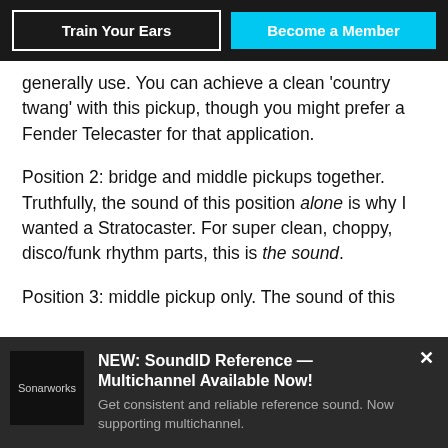Train Your Ears | Become a Member
generally use. You can achieve a clean ‘country twang’ with this pickup, though you might prefer a Fender Telecaster for that application.
Position 2: bridge and middle pickups together. Truthfully, the sound of this position alone is why I wanted a Stratocaster. For super clean, choppy, disco/funk rhythm parts, this is the sound.
Position 3: middle pickup only. The sound of this
[Figure (other): Advertisement banner for Sonarworks SoundID Reference Multichannel. Dark background with Sonarworks logo on left. Text: NEW: SoundID Reference — Multichannel Available Now! Get consistent and reliable reference sound. Now supporting multichannel.]